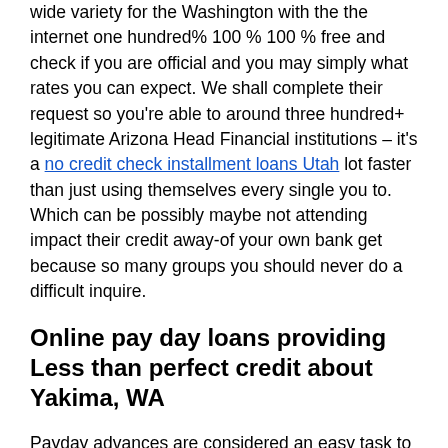wide variety for the Washington with the the internet one hundred% 100 % 100 % free and check if you are official and you may simply what rates you can expect. We shall complete their request so you're able to around three hundred+ legitimate Arizona Head Financial institutions – it's a no credit check installment loans Utah lot faster than just using themselves every single you to. Which can be possibly maybe not attending impact their credit away-of your own bank get because so many groups you should never do a difficult inquire.
Online pay day loans providing Less than perfect credit about Yakima, WA
Payday advances are considered an easy task to get just like the he is already been most provided in order to bad credit people. Of numerous Yakima, Arizona Payday loan